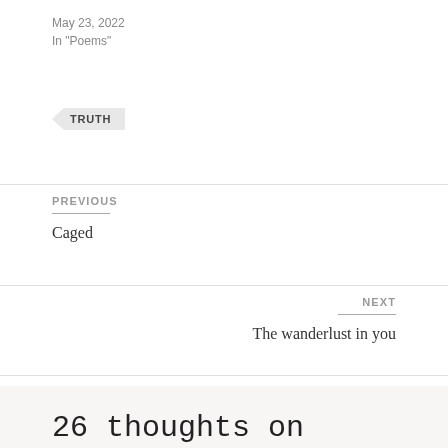May 23, 2022
In "Poems"
TRUTH
PREVIOUS
Caged
NEXT
The wanderlust in you
26 thoughts on “Does truth